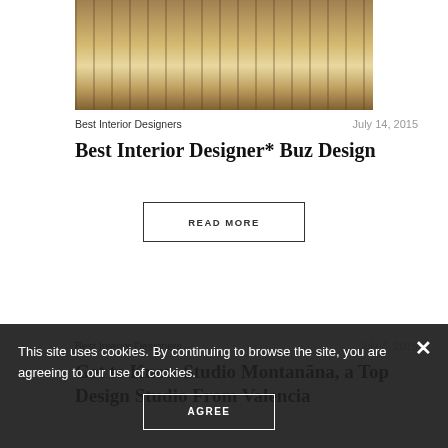[Figure (photo): Interior design photo showing a luxury living room with wood paneling, sofa, and decorative elements]
Best Interior Designers
July 14, 2015
Best Interior Designer* Buz Design
READ MORE
Best Interior Designers
July 7, 2015
Get to Know Studio Montanãna, a Top Design Studio From Valencia
This site uses cookies. By continuing to browse the site, you are agreeing to our use of cookies.
AGREE